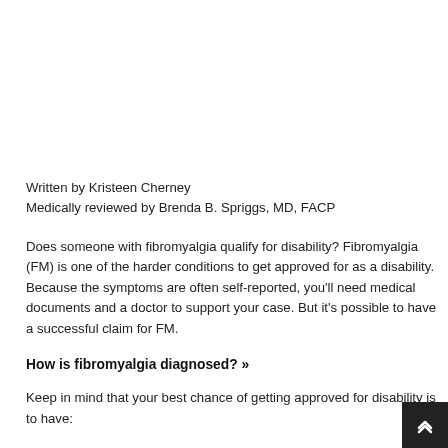Written by Kristeen Cherney
Medically reviewed by Brenda B. Spriggs, MD, FACP
Does someone with fibromyalgia qualify for disability? Fibromyalgia (FM) is one of the harder conditions to get approved for as a disability. Because the symptoms are often self-reported, you'll need medical documents and a doctor to support your case. But it's possible to have a successful claim for FM.
How is fibromyalgia diagnosed? »
Keep in mind that your best chance of getting approved for disability is to have: